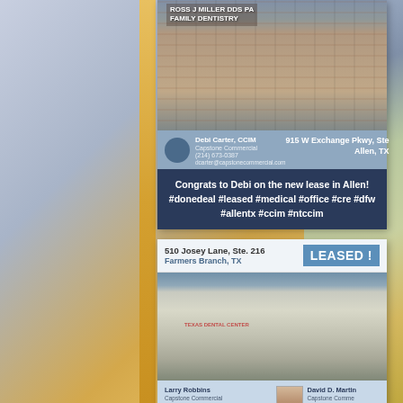[Figure (photo): Top lease announcement card showing a dental office building (Ross J Miller DDS PA Family Dentistry) at 915 W Exchange Pkwy, Ste, Allen, TX. Contact: Debi Carter CCIM, Capstone Commercial, (214) 673-0387, dcarter@capstonecommercial.com. Message: Congrats to Debi on the new lease in Allen! #donedeal #leased #medical #office #cre #dfw #allentx #ccim #ntccim]
[Figure (photo): Bottom lease announcement card showing a strip mall building at 510 Josey Lane, Ste. 216, Farmers Branch, TX. LEASED! banner. Contacts: Larry Robbins, Capstone Commercial, (214) 766-9101 and David D. Martin, Capstone Commercial, (817) 271-2757]